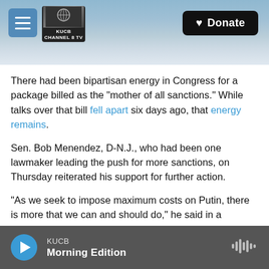[Figure (screenshot): KUCB Channel 8 TV website header with scenic mountain/water background, hamburger menu button, KUCB logo, and a black Donate button with heart icon]
There had been bipartisan energy in Congress for a package billed as the "mother of all sanctions." While talks over that bill fell apart six days ago, that energy remains.
Sen. Bob Menendez, D-N.J., who had been one lawmaker leading the push for more sanctions, on Thursday reiterated his support for further action.
"As we seek to impose maximum costs on Putin, there is more that we can and should do," he said in a statement.
KUCB Morning Edition